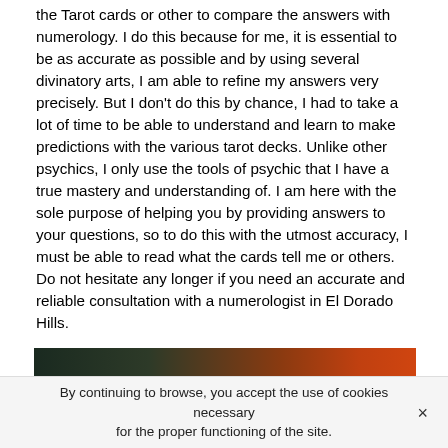the Tarot cards or other to compare the answers with numerology. I do this because for me, it is essential to be as accurate as possible and by using several divinatory arts, I am able to refine my answers very precisely. But I don't do this by chance, I had to take a lot of time to be able to understand and learn to make predictions with the various tarot decks. Unlike other psychics, I only use the tools of psychic that I have a true mastery and understanding of. I am here with the sole purpose of helping you by providing answers to your questions, so to do this with the utmost accuracy, I must be able to read what the cards tell me or others. Do not hesitate any longer if you need an accurate and reliable consultation with a numerologist in El Dorado Hills.
[Figure (photo): A dark atmospheric photo showing hands with an orange/red glowing orb or light source in the background]
By continuing to browse, you accept the use of cookies necessary for the proper functioning of the site.